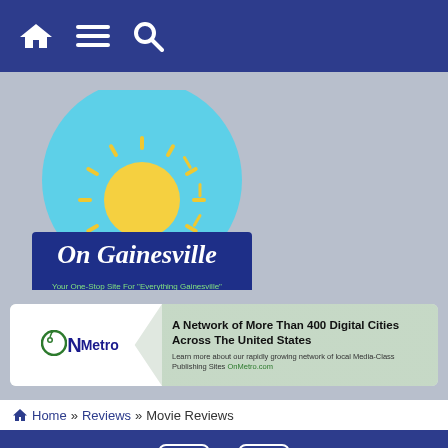[Figure (screenshot): Website navigation bar with dark blue background, home icon, hamburger menu icon, and search icon]
[Figure (logo): On Gainesville website logo — circular light blue background with yellow sun graphic, dark blue rectangle with white script text 'On Gainesville' and tagline 'Your One-Stop Site For Everything Gainesville']
[Figure (logo): ONMetro banner advertisement — white hexagonal left section with ONMetro logo, green/gray background right section with text 'A Network of More Than 400 Digital Cities Across The United States' and 'Learn more about our rapidly growing network of local Media-Class Publishing Sites OnMetro.com']
Home » Reviews » Movie Reviews
[Figure (screenshot): Dark blue footer bar with white Facebook and Twitter social media icons]